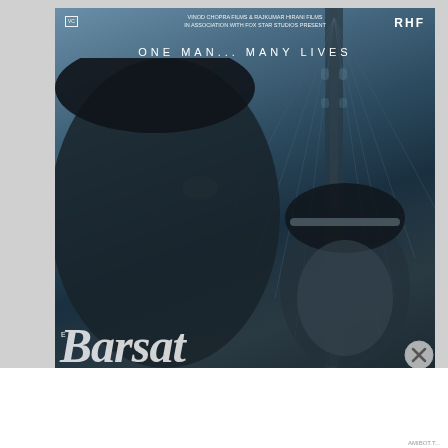[Figure (photo): Movie poster for a Bollywood film presented by Vinod Chopra Films & Rajkumar Hirani Films in association with Fox Star Studios. Shows a man in profile on the left and a woman on the right, with a bridge (Brooklyn Bridge silhouette) in the background. Tagline reads 'ONE MAN... MANY LIVES'. RHF logo top right. Blue-grey moody color scheme. Partial movie title in italic script at bottom.]
Advertisements
[Figure (screenshot): DuckDuckGo advertisement banner. Left orange section reads 'Search, browse, and email with more privacy. All in One Free App'. Right dark section shows DuckDuckGo logo and name.]